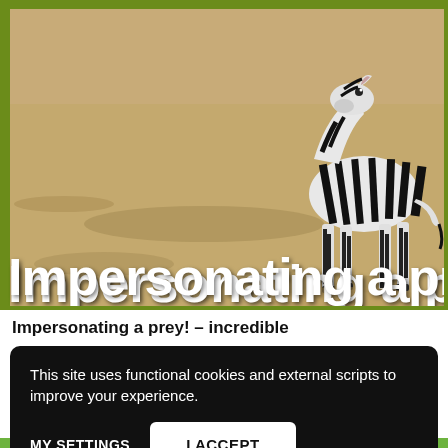[Figure (photo): Video thumbnail showing a zebra running on dusty savanna terrain, viewed from behind/side. The scene shows sandy brown ground with the black and white striped zebra prominent on the right side. A large white bold text overlay at the bottom reads 'Impersonating a pr' (truncated). The thumbnail has a green border.]
Impersonating a prey! – incredible
This site uses functional cookies and external scripts to improve your experience.
MY SETTINGS   I ACCEPT